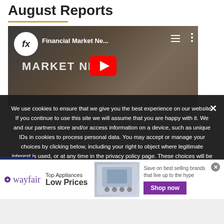August Reports
[Figure (screenshot): Video thumbnail for 'Financial Market News' with fx logo, YouTube play button, and 'MARKET NEWS' text overlay on dark background]
We use cookies to ensure that we give you the best experience on our website. If you continue to use this site we will assume that you are happy with it. We and our partners store and/or access information on a device, such as unique IDs in cookies to process personal data. You may accept or manage your choices by clicking below, including your right to object where legitimate interest is used, or at any time in the privacy policy page. These choices will be signalled to our partners and will not affect browsing data. We and our partners process data to provide: Use precise geolocation data. ely scan device characteristics for identification. Store and/or
[Figure (advertisement): Wayfair advertisement: Top Appliances Low Prices, Shop now button, image of appliance, Save on best selling brands that live up to the hype]